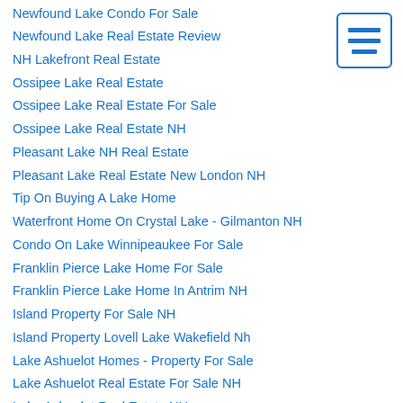Newfound Lake Condo For Sale
Newfound Lake Real Estate Review
NH Lakefront Real Estate
Ossipee Lake Real Estate
Ossipee Lake Real Estate For Sale
Ossipee Lake Real Estate NH
Pleasant Lake NH Real Estate
Pleasant Lake Real Estate New London NH
Tip On Buying A Lake Home
Waterfront Home On Crystal Lake - Gilmanton NH
Condo On Lake Winnipeaukee For Sale
Franklin Pierce Lake Home For Sale
Franklin Pierce Lake Home In Antrim NH
Island Property For Sale NH
Island Property Lovell Lake Wakefield Nh
Lake Ashuelot Homes - Property For Sale
Lake Ashuelot Real Estate For Sale NH
Lake Ashuelot Real Estate NH
Lake Ashuelot Real Estate Washington NH
Lake Waukewan - Meredith - New Hampton - Center Harbor
Lake Waukewan Meredith NH
Lake Waukewan NH Lake Review